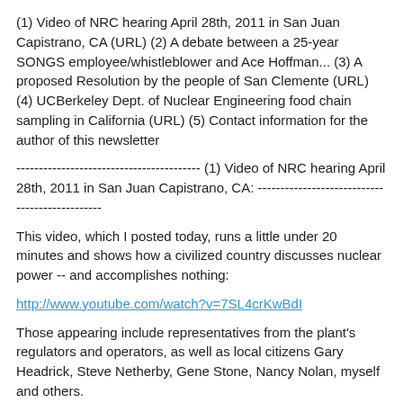(1) Video of NRC hearing April 28th, 2011 in San Juan Capistrano, CA (URL) (2) A debate between a 25-year SONGS employee/whistleblower and Ace Hoffman... (3) A proposed Resolution by the people of San Clemente (URL) (4) UCBerkeley Dept. of Nuclear Engineering food chain sampling in California (URL) (5) Contact information for the author of this newsletter
----------------------------------------- (1) Video of NRC hearing April 28th, 2011 in San Juan Capistrano, CA: ----------------------------------------
This video, which I posted today, runs a little under 20 minutes and shows how a civilized country discusses nuclear power -- and accomplishes nothing:
http://www.youtube.com/watch?v=7SL4crKwBdI
Those appearing include representatives from the plant's regulators and operators, as well as local citizens Gary Headrick, Steve Netherby, Gene Stone, Nancy Nolan, myself and others.